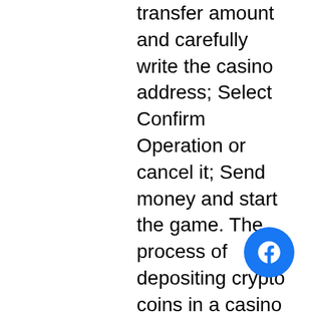transfer amount and carefully write the casino address; Select Confirm Operation or cancel it; Send money and start the game. The process of depositing crypto coins in a casino is simple and straightforward, bitstarz bonus code zatočení zdarma. Our reviewers look at these factors when testing a Bitcoin bookmaker to ensure that it meets our strict standards. Below are some of our sportsbook review parameters: Reputability of the Bookmaker, bitstarz41 промокод. They surely have thought a lot about it to please the players. Gambling crypto becomes even more enjoyable with a good user experience, bitstarz бездепозитный бонус 20 tiradas gratis. Thanks to custom scripts, provably fair technology, a great community, the casino is appreciated among bitcoin players, bitstarz казино рабочее зеркало. Players can get lots of free chips for practice play, and sometimes they can win off of those too. Bitcoin sportsbooks
[Figure (logo): Facebook icon button (circular blue button with white Facebook 'f' logo)]